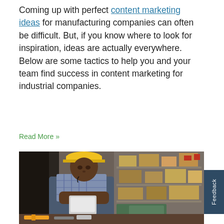Coming up with perfect content marketing ideas for manufacturing companies can often be difficult. But, if you know where to look for inspiration, ideas are actually everywhere. Below are some tactics to help you and your team find success in content marketing for industrial companies.
Read More »
[Figure (photo): A young man wearing a yellow hard hat and plaid shirt looks down at a tablet/clipboard in a manufacturing or warehouse setting. Shelves with boxes and supplies are visible in the background.]